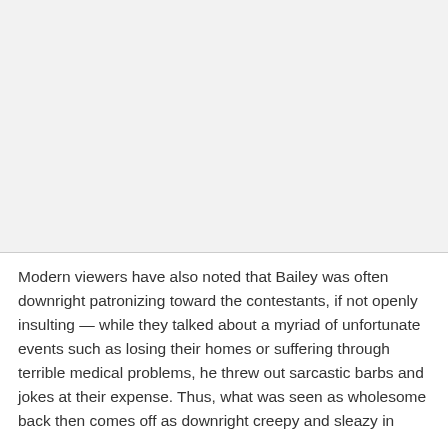[Figure (photo): Large image placeholder area occupying the top portion of the page, shown as a light gray rectangle.]
Modern viewers have also noted that Bailey was often downright patronizing toward the contestants, if not openly insulting — while they talked about a myriad of unfortunate events such as losing their homes or suffering through terrible medical problems, he threw out sarcastic barbs and jokes at their expense. Thus, what was seen as wholesome back then comes off as downright creepy and sleazy in